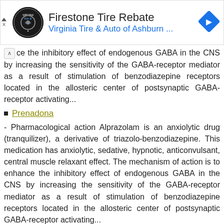[Figure (infographic): Advertisement banner for Firestone Tire Rebate by Virginia Tire & Auto of Ashburn with logo and navigation icon]
ce the inhibitory effect of endogenous GABA in the CNS by increasing the sensitivity of the GABA-receptor mediator as a result of stimulation of benzodiazepine receptors located in the allosteric center of postsynaptic GABA-receptor activating...
Prenadona
- Pharmacological action Alprazolam is an anxiolytic drug (tranquilizer), a derivative of triazolo-benzodiazepine. This medication has anxiolytic, sedative, hypnotic, anticonvulsant, central muscle relaxant effect. The mechanism of action is to enhance the inhibitory effect of endogenous GABA in the CNS by increasing the sensitivity of the GABA-receptor mediator as a result of stimulation of benzodiazepine receptors located in the allosteric center of postsynaptic GABA-receptor activating...